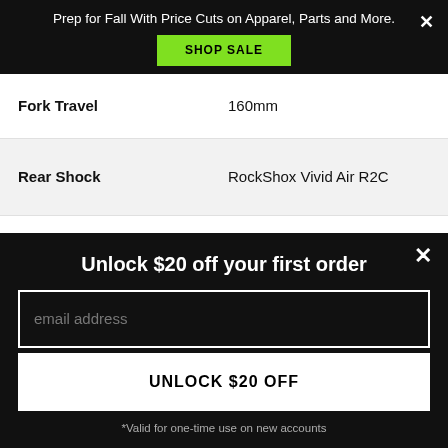Prep for Fall With Price Cuts on Apparel, Parts and More.
SHOP SALE
| Spec | Value |
| --- | --- |
| Fork Travel | 160mm |
| Rear Shock | RockShox Vivid Air R2C |
| Rear Shock Travel | 165mm |
| Brakes | SRAM Guide RS, Disc - Hydraulic |
Unlock $20 off your first order
email address
UNLOCK $20 OFF
*Valid for one-time use on new accounts